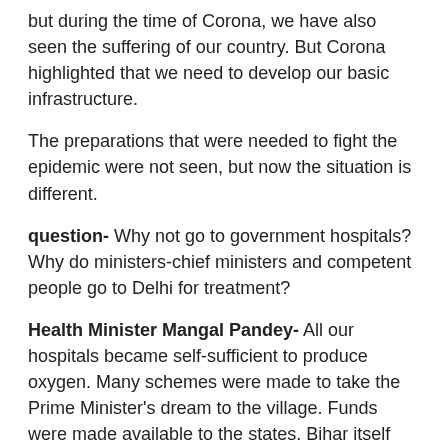but during the time of Corona, we have also seen the suffering of our country. But Corona highlighted that we need to develop our basic infrastructure.
The preparations that were needed to fight the epidemic were not seen, but now the situation is different.
question- Why not go to government hospitals? Why do ministers-chief ministers and competent people go to Delhi for treatment?
Health Minister Mangal Pandey- All our hospitals became self-sufficient to produce oxygen. Many schemes were made to take the Prime Minister's dream to the village. Funds were made available to the states. Bihar itself has got Rs 6700 crore.
– Have felt the shortcoming that you have mentioned. But now the features have to be upgraded and improved. This